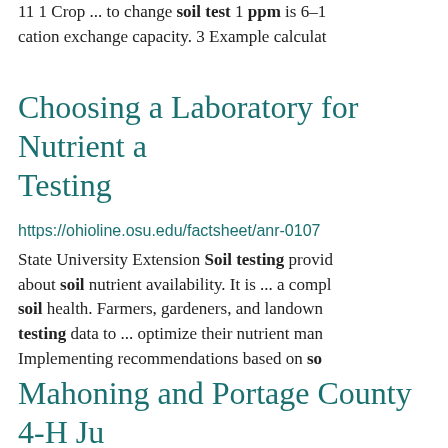11 1 Crop ... to change soil test 1 ppm is 6–1 cation exchange capacity. 3 Example calculat
Choosing a Laboratory for Nutrient a Testing
https://ohioline.osu.edu/factsheet/anr-0107
State University Extension Soil testing provid about soil nutrient availability. It is ... a compl soil health. Farmers, gardeners, and landown testing data to ... optimize their nutrient man Implementing recommendations based on so
Mahoning and Portage County 4-H Ju Camp Whitewood